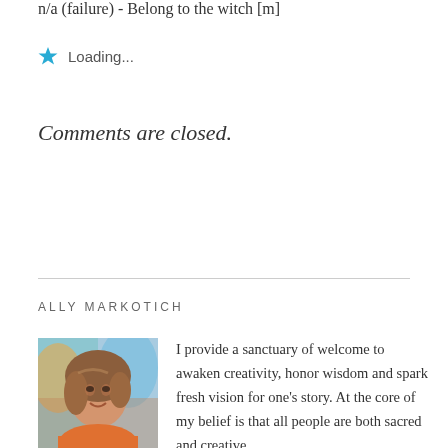n/a (failure) - Belong to the witch [m]
Loading...
Comments are closed.
ALLY MARKOTICH
[Figure (photo): Portrait photo of Ally Markotich, a woman with medium-length brown hair, smiling, wearing an orange top with colorful artwork visible in the background.]
I provide a sanctuary of welcome to awaken creativity, honor wisdom and spark fresh vision for one’s story. At the core of my belief is that all people are both sacred and creative.